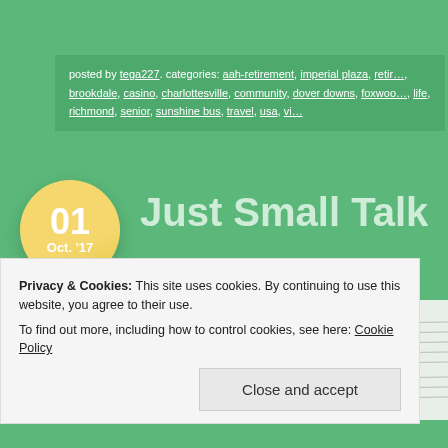posted by tega227. categories: aah-retirement, imperial plaza, reti…, brookdale, casino, charlottesville, community, dover downs, foxwoo…, life, richmond, senior, sunshine bus, travel, usa, vi…
Just Small Talk
[Figure (photo): Partial photo of sheet music or music notebook pages, light gray/white tones with lines visible]
Privacy & Cookies: This site uses cookies. By continuing to use this website, you agree to their use.
To find out more, including how to control cookies, see here: Cookie Policy
Close and accept